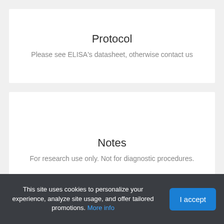Protocol
Please see ELISA's datasheet, otherwise contact us
Notes
For research use only. Not for diagnostic procedures.
This site uses cookies to personalize your experience, analyze site usage, and offer tailored promotions. More info